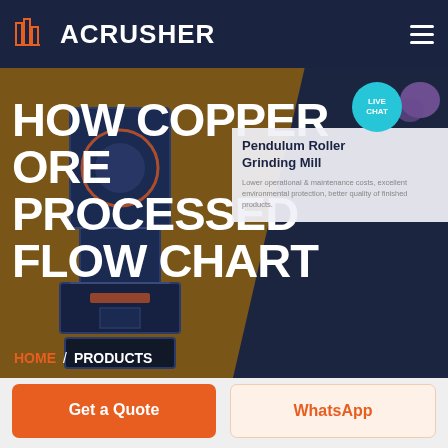ACRUSHER
HOW COPPER ORE PROCESSED FLOW CHART
LIVE CHAT
Pendulum Roller Grinding Mill
Lower operational & maintenance costs, excellent environmental protection, better quality of finished products.
HOME / PRODUCTS
[Figure (screenshot): Industrial crusher/grinding machine rendered in 3D, dark blue and orange color scheme, placed against a brown/dark background]
Get a Quote
WhatsApp